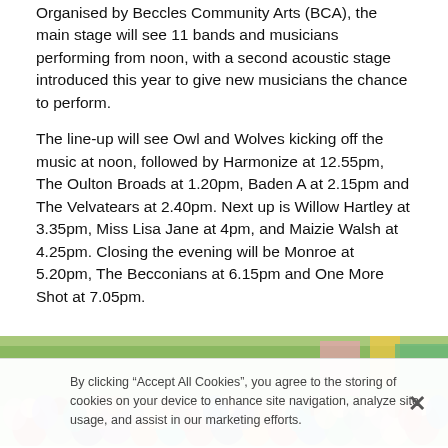Organised by Beccles Community Arts (BCA), the main stage will see 11 bands and musicians performing from noon, with a second acoustic stage introduced this year to give new musicians the chance to perform.
The line-up will see Owl and Wolves kicking off the music at noon, followed by Harmonize at 12.55pm, The Oulton Broads at 1.20pm, Baden A at 2.15pm and The Velvatears at 2.40pm. Next up is Willow Hartley at 3.35pm, Miss Lisa Jane at 4pm, and Maizie Walsh at 4.25pm. Closing the evening will be Monroe at 5.20pm, The Becconians at 6.15pm and One More Shot at 7.05pm.
[Figure (photo): Crowd of people at an outdoor music festival, with trees and colourful structures in the background.]
By clicking “Accept All Cookies”, you agree to the storing of cookies on your device to enhance site navigation, analyze site usage, and assist in our marketing efforts.